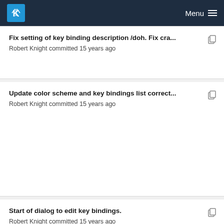KDE Menu
Fix setting of key binding description /doh. Fix cra...
Robert Knight committed 15 years ago
Update color scheme and key bindings list correct...
Robert Knight committed 15 years ago
Start of dialog to edit key bindings.
Robert Knight committed 15 years ago
Update color scheme and key bindings list correct...
Robert Knight committed 15 years ago